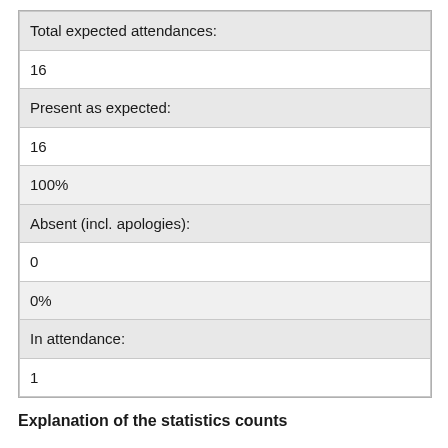| Total expected attendances: |
| 16 |
| Present as expected: |
| 16 |
| 100% |
| Absent (incl. apologies): |
| 0 |
| 0% |
| In attendance: |
| 1 |
Explanation of the statistics counts